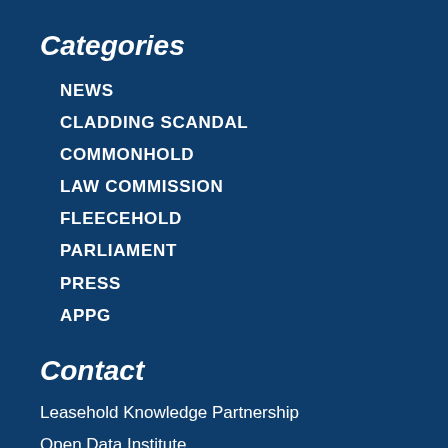Categories
NEWS
CLADDING SCANDAL
COMMONHOLD
LAW COMMISSION
FLEECEHOLD
PARLIAMENT
PRESS
APPG
Contact
Leasehold Knowledge Partnership
Open Data Institute